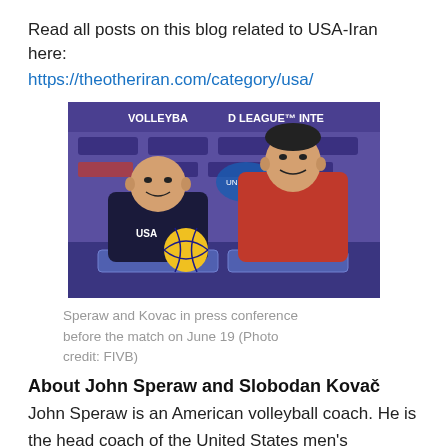Read all posts on this blog related to USA-Iran here:
https://theotheriran.com/category/usa/
[Figure (photo): Two men in a press conference setting with a volleyball league banner in the background. The man on the left wears a dark USA volleyball shirt, and the man on the right wears a red athletic shirt. A yellow volleyball and a blue flag are visible on the table.]
Speraw and Kovac in press conference before the match on June 19 (Photo credit: FIVB)
About John Speraw and Slobodan Kovač
John Speraw is an American volleyball coach. He is the head coach of the United States men's volleyball team and UCLA. He was the former coach of UC Irvine volleyball